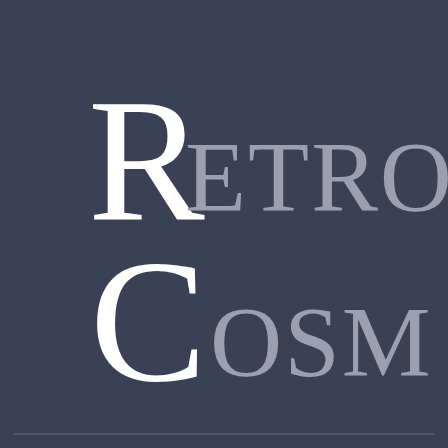[Figure (logo): RetroCosm logo: dark slate-blue background with large stylized text 'RETRO' on top line and 'COSM' on bottom line. The letter R is white and large, ETRO is gray smaller caps. The letter C is white large, OSM is gray smaller caps. A thin horizontal line appears at the bottom of the image.]